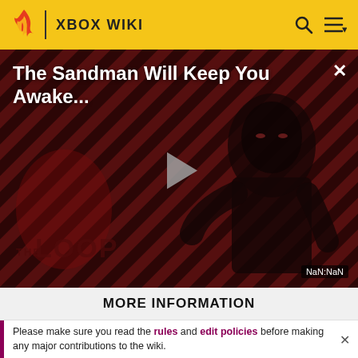XBOX WIKI
[Figure (screenshot): Video player showing 'The Sandman Will Keep You Awake...' with a dark figure on striped red/black background, play button in center, THE LOOP logo at bottom left, NaN:NaN time display at bottom right]
MORE INFORMATION
Please make sure you read the rules and edit policies before making any major contributions to the wiki.